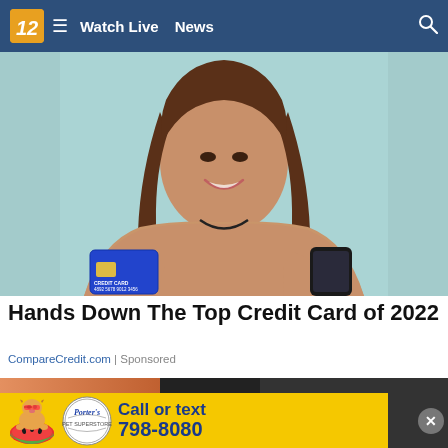12  ≡  Watch Live  News  🔍
[Figure (photo): Young woman with long brown hair smiling, holding a blue credit card in one hand and a smartphone in the other, against a teal/light-blue background, wearing a beige top]
Hands Down The Top Credit Card of 2022
CompareCredit.com | Sponsored
[Figure (photo): Partial view of a second image showing warm-toned background, partially obscured by advertisement banner]
[Figure (other): Advertisement banner: Porter's logo with a Corgi dog sitting on a watermelon slice, text reads 'Call or text 798-8080' in dark blue on yellow background, with close (x) button]